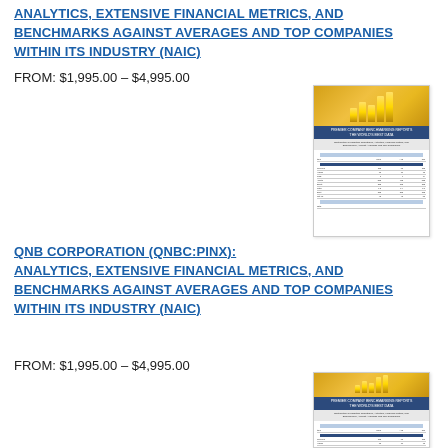ANALYTICS, EXTENSIVE FINANCIAL METRICS, AND BENCHMARKS AGAINST AVERAGES AND TOP COMPANIES WITHIN ITS INDUSTRY (NAIC)
FROM: $1,995.00 – $4,995.00
[Figure (illustration): Thumbnail image of a financial benchmarking report cover showing gold bar chart graphic and tabular financial data]
QNB CORPORATION (QNBC:PINX): ANALYTICS, EXTENSIVE FINANCIAL METRICS, AND BENCHMARKS AGAINST AVERAGES AND TOP COMPANIES WITHIN ITS INDUSTRY (NAIC)
FROM: $1,995.00 – $4,995.00
[Figure (illustration): Thumbnail image of a financial benchmarking report cover showing gold bar chart graphic and tabular financial data]